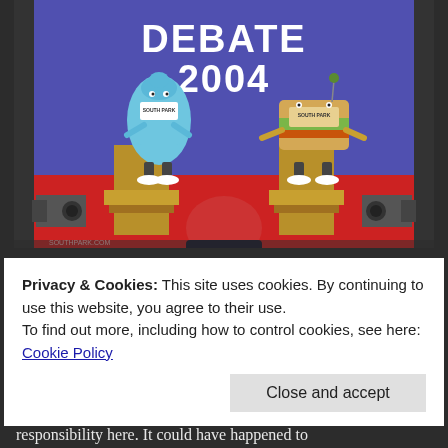[Figure (illustration): South Park animated cartoon scene showing 'DEBATE 2004' text at top, with two cartoon characters (a blue bottle with 'South Park' label on left podium, and a sandwich with 'South Park' label on right podium) on a red and blue debate stage. A person with red hair is seated in the foreground viewing the debate. TV cameras visible on sides. southpark.com watermark at bottom left.]
In a sense it is old and very painful news as he did indeed rat out on his promise to introduce Andrew Wakefield's movie in its promotion of truth about something that should have been
Privacy & Cookies: This site uses cookies. By continuing to use this website, you agree to their use.
To find out more, including how to control cookies, see here:
Cookie Policy
Close and accept
responsibility here. It could have happened to